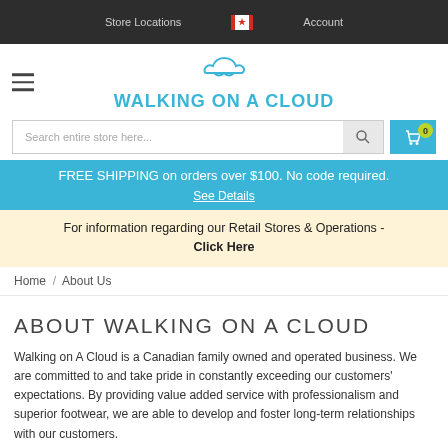Store Locations   [Canadian Flag]   Account
[Figure (logo): Walking on A Cloud logo with cloud icon above the text]
Search entire store here...
FREE SHIPPING on orders over $100. No code required. See Details
For information regarding our Retail Stores & Operations - Click Here
Home / About Us
ABOUT WALKING ON A CLOUD
Walking on A Cloud is a Canadian family owned and operated business. We are committed to and take pride in constantly exceeding our customers' expectations. By providing value added service with professionalism and superior footwear, we are able to develop and foster long-term relationships with our customers.